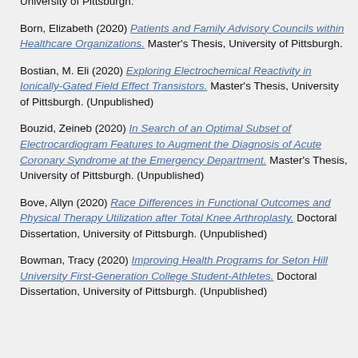University of Pittsburgh.
Born, Elizabeth (2020) Patients and Family Advisory Councils within Healthcare Organizations. Master's Thesis, University of Pittsburgh.
Bostian, M. Eli (2020) Exploring Electrochemical Reactivity in Ionically-Gated Field Effect Transistors. Master's Thesis, University of Pittsburgh. (Unpublished)
Bouzid, Zeineb (2020) In Search of an Optimal Subset of Electrocardiogram Features to Augment the Diagnosis of Acute Coronary Syndrome at the Emergency Department. Master's Thesis, University of Pittsburgh. (Unpublished)
Bove, Allyn (2020) Race Differences in Functional Outcomes and Physical Therapy Utilization after Total Knee Arthroplasty. Doctoral Dissertation, University of Pittsburgh. (Unpublished)
Bowman, Tracy (2020) Improving Health Programs for Seton Hill University First-Generation College Student-Athletes. Doctoral Dissertation, University of Pittsburgh. (Unpublished)